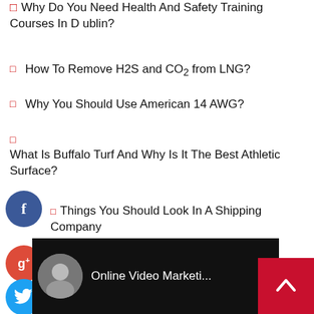Why Do You Need Health And Safety Training Courses In Dublin?
How To Remove H2S and CO2 from LNG?
Why You Should Use American 14 AWG?
What Is Buffalo Turf And Why Is It The Best Athletic Surface?
Things You Should Look In A Shipping Company
Marketing Awane Insight Produces Web Video Marketing
[Figure (screenshot): YouTube video thumbnail showing Online Video Marketi... with a man in suit avatar and three-dot menu]
[Figure (other): Social media sharing buttons: Facebook, Google+, Twitter, Add (+)]
[Figure (other): Back to top red button with upward chevron arrow]